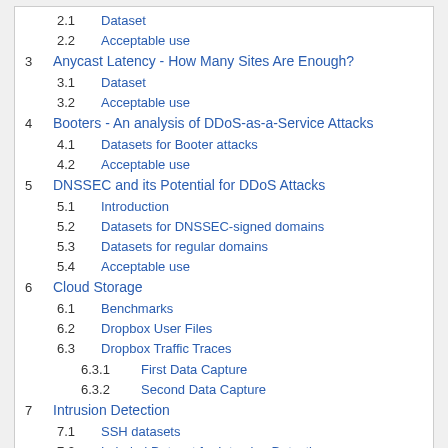2.1  Dataset
2.2  Acceptable use
3  Anycast Latency - How Many Sites Are Enough?
3.1  Dataset
3.2  Acceptable use
4  Booters - An analysis of DDoS-as-a-Service Attacks
4.1  Datasets for Booter attacks
4.2  Acceptable use
5  DNSSEC and its Potential for DDoS Attacks
5.1  Introduction
5.2  Datasets for DNSSEC-signed domains
5.3  Datasets for regular domains
5.4  Acceptable use
6  Cloud Storage
6.1  Benchmarks
6.2  Dropbox User Files
6.3  Dropbox Traffic Traces
6.3.1  First Data Capture
6.3.2  Second Data Capture
7  Intrusion Detection
7.1  SSH datasets
7.2  Labeled Dataset for Intrusion Detection
8  Pcap Traces